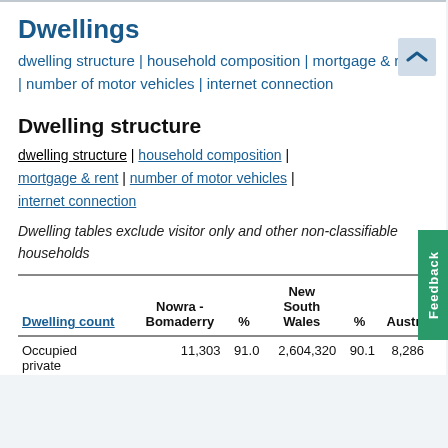Dwellings
dwelling structure | household composition | mortgage & rent | number of motor vehicles | internet connection
Dwelling structure
dwelling structure | household composition | mortgage & rent | number of motor vehicles | internet connection
Dwelling tables exclude visitor only and other non-classifiable households
| Dwelling count | Nowra - Bomaderry | % | New South Wales | % Aust |
| --- | --- | --- | --- | --- |
| Occupied private | 11,303 | 91.0 | 2,604,320 | 90.1 | 8,286 |